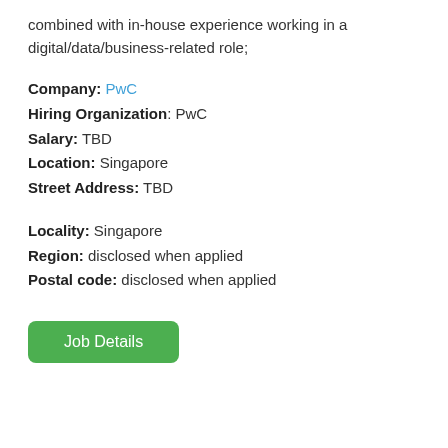combined with in-house experience working in a digital/data/business-related role;
Company: PwC
Hiring Organization: PwC
Salary: TBD
Location: Singapore
Street Address: TBD
Locality: Singapore
Region: disclosed when applied
Postal code: disclosed when applied
Job Details